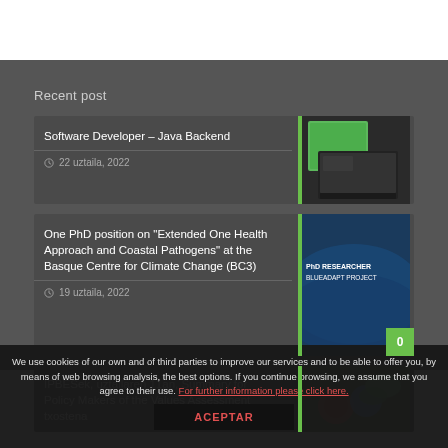Recent post
Software Developer – Java Backend
22 uztaila, 2022
[Figure (photo): Green and dark laptop/notebook product photo]
One PhD position on "Extended One Health Approach and Coastal Pathogens" at the Basque Centre for Climate Change (BC3)
19 uztaila, 2022
[Figure (photo): PhD Researcher BlueAdapt Project banner with dark ocean background]
IPBESek, uztailaren 11an, Summary for Policy Makers of the Values Assessment txostena
[Figure (photo): Colorful headphones on green plant background]
We use cookies of our own and of third parties to improve our services and to be able to offer you, by means of web browsing analysis, the best options. If you continue browsing, we assume that you agree to their use. For further information please click here.
ACEPTAR